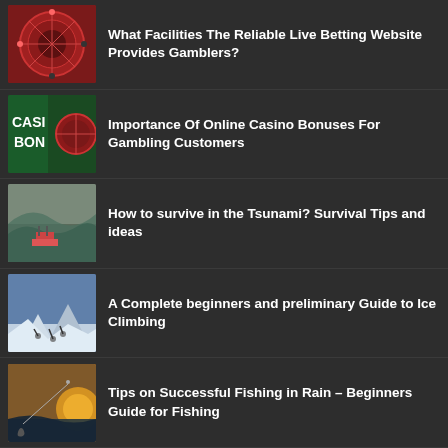What Facilities The Reliable Live Betting Website Provides Gamblers?
Importance Of Online Casino Bonuses For Gambling Customers
How to survive in the Tsunami? Survival Tips and ideas
A Complete beginners and preliminary Guide to Ice Climbing
Tips on Successful Fishing in Rain – Beginners Guide for Fishing